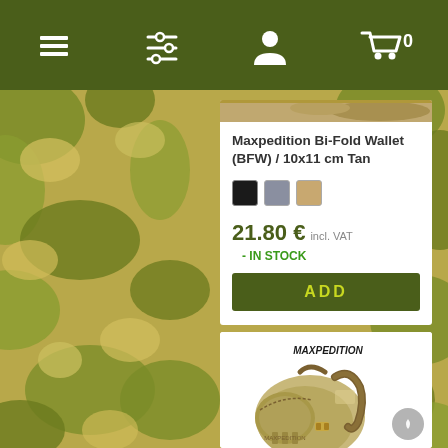Navigation bar with menu, filter, user, and cart icons
Maxpedition Bi-Fold Wallet (BFW) / 10x11 cm Tan
21.80 € incl. VAT - IN STOCK
[Figure (photo): ADD button (dark olive green background with yellow-green ADD text)]
[Figure (photo): Tan/khaki tactical backpack with Maxpedition logo, front pocket and shoulder straps visible]